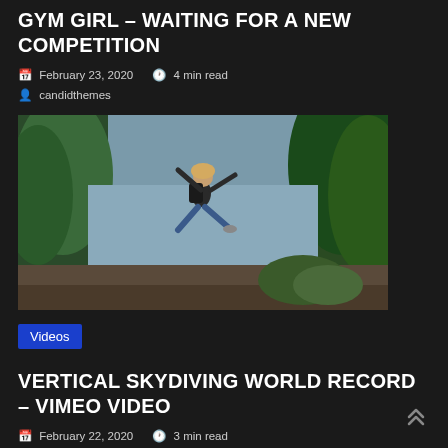GYM GIRL – WAITING FOR A NEW COMPETITION
📅 February 23, 2020  🕐 4 min read  👤 candidthemes
[Figure (photo): Person jumping in the air outdoors with trees and a lake in the background, wearing jeans and a backpack with arms spread wide]
Videos
VERTICAL SKYDIVING WORLD RECORD – VIMEO VIDEO
📅 February 22, 2020  🕐 3 min read  👤 candidthemes